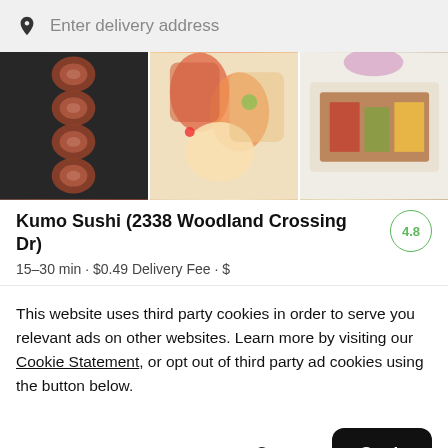Enter delivery address
[Figure (photo): Three-panel collage of sushi restaurant food photos: left shows sushi rolls arranged vertically, center shows colorful sashimi and rolls on a wooden board, right shows a plated meat and vegetable dish on a white rectangular plate]
Kumo Sushi (2338 Woodland Crossing Dr)
4.8
15–30 min • $0.49 Delivery Fee • $
This website uses third party cookies in order to serve you relevant ads on other websites. Learn more by visiting our Cookie Statement, or opt out of third party ad cookies using the button below.
Opt out
Got it